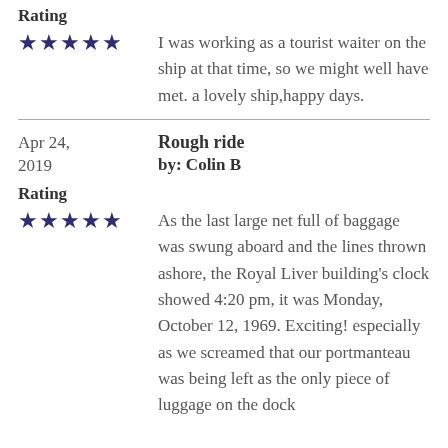Rating
★★★★★  I was working as a tourist waiter on the ship at that time, so we might well have met. a lovely ship,happy days.
Apr 24, 2019   Rough ride  by: Colin B
Rating
★★★★★  As the last large net full of baggage was swung aboard and the lines thrown ashore, the Royal Liver building's clock showed 4:20 pm, it was Monday, October 12, 1969. Exciting! especially as we screamed that our portmanteau was being left as the only piece of luggage on the dock